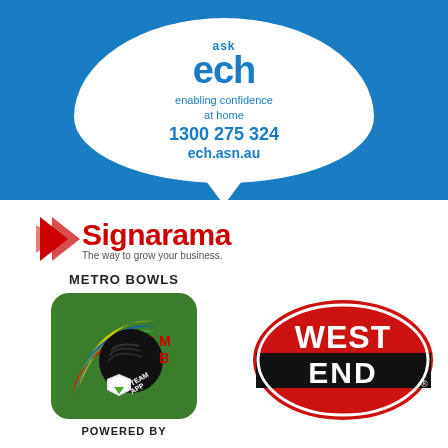[Figure (logo): Ask ECH logo with speech bubble shape on blue background. Text: 'ask ech', 'enabling confidence at home', '1300 275 324', 'ech.asn.au']
[Figure (logo): Signarama logo with text 'The way to grow your business.']
[Figure (logo): Metro Bowls Team App logo with green grass background, colorful bowling ball arc, MB letters, Team App shield icon. Text: 'METRO BOWLS' and 'POWERED BY']
[Figure (logo): West End beer logo - red oval with black band, white text 'WEST END']